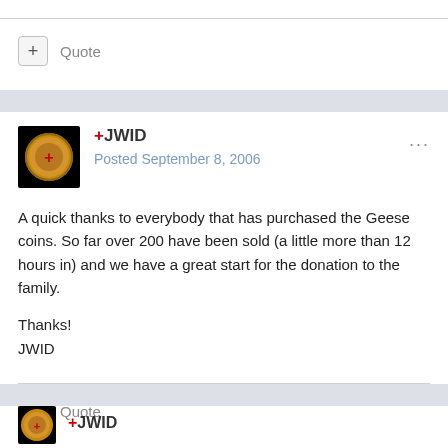+ Quote
+JWID
Posted September 8, 2006
A quick thanks to everybody that has purchased the Geese coins. So far over 200 have been sold (a little more than 12 hours in) and we have a great start for the donation to the family.
Thanks!
JWID
+ Quote
+JWID